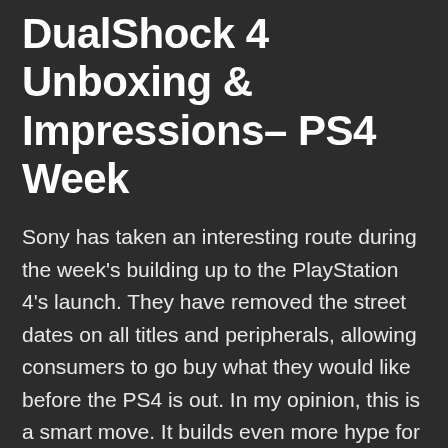DualShock 4 Unboxing & Impressions– PS4 Week
Sony has taken an interesting route during the week's building up to the PlayStation 4's launch. They have removed the street dates on all titles and peripherals, allowing consumers to go buy what they would like before the PS4 is out. In my opinion, this is a smart move. It builds even more hype for the launch, letting gamers stare at game boxes and useless add-ons. But there is one that is not entirely useless. That would be the DualShock 4, the brand new controller for Sony's new system. Customers may buy the DualShock 4 and hold it and get a real taste of